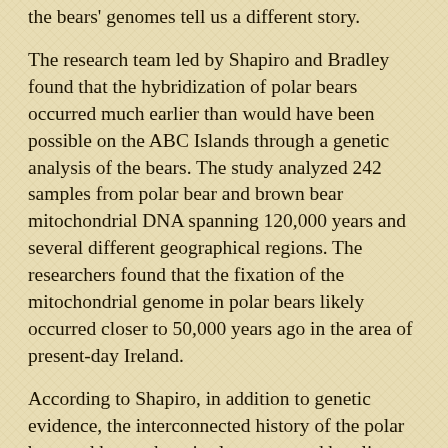the bears' genomes tell us a different story.
The research team led by Shapiro and Bradley found that the hybridization of polar bears occurred much earlier than would have been possible on the ABC Islands through a genetic analysis of the bears. The study analyzed 242 samples from polar bear and brown bear mitochondrial DNA spanning 120,000 years and several different geographical regions. The researchers found that the fixation of the mitochondrial genome in polar bears likely occurred closer to 50,000 years ago in the area of present-day Ireland.
According to Shapiro, in addition to genetic evidence, the interconnected history of the polar bear and brown bear is also supported by climate events. One example of this is the British-Irish ice sheet, which reached its maximum range around 20,000 years ago. At this time parts of Ireland would have been difficult to inhabit, pushing bears from the warmer areas toward ice shelves and land exposed by lower sea levels. This would have brought the bears into close contact with their northern neighbors, showing how the animals that became two different bear species could have